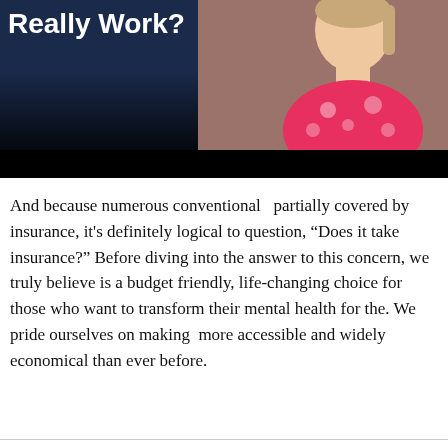[Figure (photo): A woman in a pink floral top against a dark navy background with white bold text overlay reading 'Really Work?' and a black bar at the bottom of the image.]
And because numerous conventional   partially covered by insurance, it's definitely logical to question, “Does it take insurance?” Before diving into the answer to this concern, we truly believe is a budget friendly, life-changing choice for those who want to transform their mental health for the. We pride ourselves on making  more accessible and widely economical than ever before.